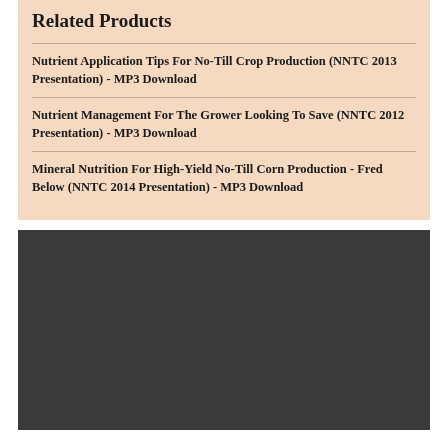Related Products
Nutrient Application Tips For No-Till Crop Production (NNTC 2013 Presentation) - MP3 Download
Nutrient Management For The Grower Looking To Save (NNTC 2012 Presentation) - MP3 Download
Mineral Nutrition For High-Yield No-Till Corn Production - Fred Below (NNTC 2014 Presentation) - MP3 Download
[Figure (other): Dark gray rectangular placeholder image area]